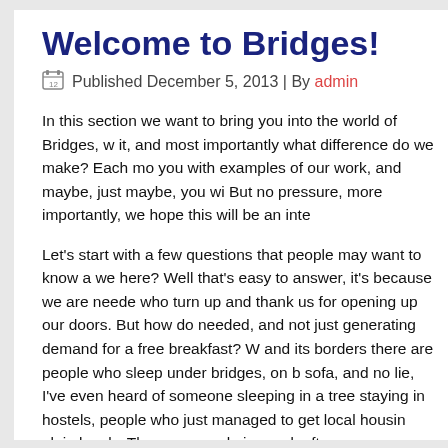Welcome to Bridges!
Published December 5, 2013 | By admin
In this section we want to bring you into the world of Bridges, w it, and most importantly what difference do we make? Each mo you with examples of our work, and maybe, just maybe, you wi But no pressure, more importantly, we hope this will be an inte
Let's start with a few questions that people may want to know a we here? Well that's easy to answer, it's because we are neede who turn up and thank us for opening up our doors. But how do needed, and not just generating demand for a free breakfast? W and its borders there are people who sleep under bridges, on b sofa, and no lie, I've even heard of someone sleeping in a tree staying in hostels, people who just managed to get local housin plain lonely. They are people in need, often very vulnerable due misuse, mental and physical health difficulties. Even though we